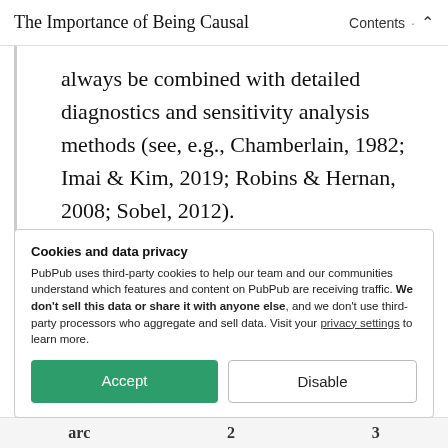The Importance of Being Causal
always be combined with detailed diagnostics and sensitivity analysis methods (see, e.g., Chamberlain, 1982; Imai & Kim, 2019; Robins & Hernan, 2008; Sobel, 2012).
Cookies and data privacy
PubPub uses third-party cookies to help our team and our communities understand which features and content on PubPub are receiving traffic. We don't sell this data or share it with anyone else, and we don't use third-party processors who aggregate and sell data. Visit your privacy settings to learn more.
Accept | Disable